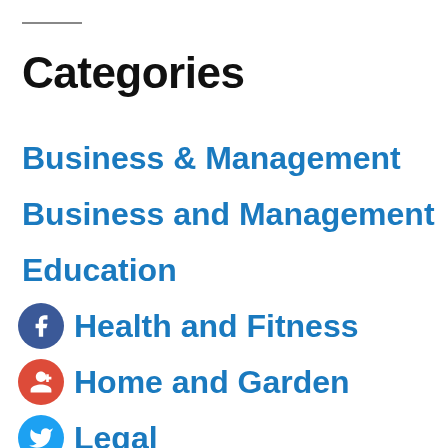Categories
Business & Management
Business and Management
Education
Health and Fitness
Home and Garden
Legal
Main
Marketing and Advertising
Pete